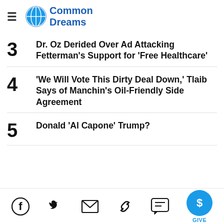Common Dreams
3 Dr. Oz Derided Over Ad Attacking Fetterman's Support for 'Free Healthcare'
4 'We Will Vote This Dirty Deal Down,' Tlaib Says of Manchin's Oil-Friendly Side Agreement
5 Donald 'Al Capone' Trump?
Social share icons and GIVE button